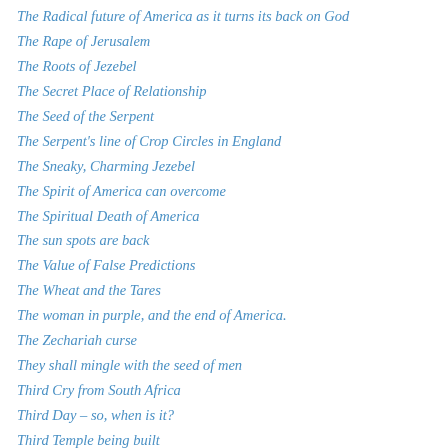The Radical future of America as it turns its back on God
The Rape of Jerusalem
The Roots of Jezebel
The Secret Place of Relationship
The Seed of the Serpent
The Serpent's line of Crop Circles in England
The Sneaky, Charming Jezebel
The Spirit of America can overcome
The Spiritual Death of America
The sun spots are back
The Value of False Predictions
The Wheat and the Tares
The woman in purple, and the end of America.
The Zechariah curse
They shall mingle with the seed of men
Third Cry from South Africa
Third Day – so, when is it?
Third Temple being built
This Is the Government that the Democrats Will Usher In After a Coup Against Trump